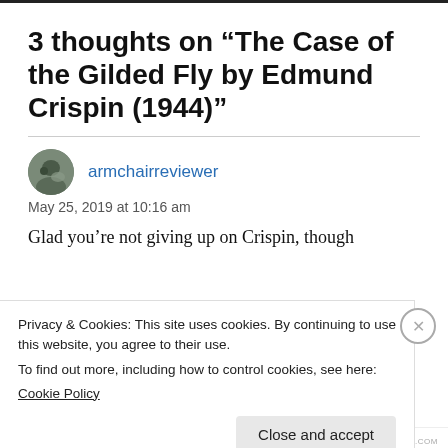3 thoughts on “The Case of the Gilded Fly by Edmund Crispin (1944)”
armchairreviewer
May 25, 2019 at 10:16 am
Glad you’re not giving up on Crispin, though
Privacy & Cookies: This site uses cookies. By continuing to use this website, you agree to their use.
To find out more, including how to control cookies, see here:
Cookie Policy